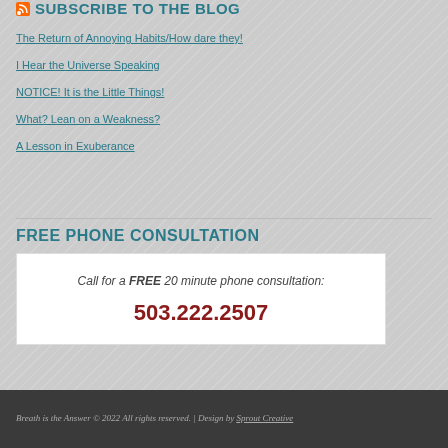SUBSCRIBE TO THE BLOG
The Return of Annoying Habits/How dare they!
I Hear the Universe Speaking
NOTICE! It is the Little Things!
What? Lean on a Weakness?
A Lesson in Exuberance
FREE PHONE CONSULTATION
Call for a FREE 20 minute phone consultation: 503.222.2507
Breath is the Answer © 2022 All rights reserved. | Design by Sprout Creative